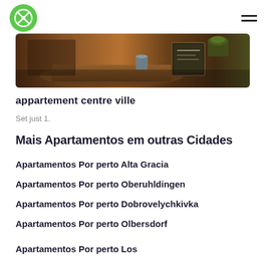Logo and navigation
[Figure (photo): Interior photo of a cafe/restaurant with wooden tables, plants and a chalkboard sign]
appartement centre ville
Set just 1.
Mais Apartamentos em outras Cidades
Apartamentos Por perto Alta Gracia
Apartamentos Por perto Oberuhldingen
Apartamentos Por perto Dobrovelychkivka
Apartamentos Por perto Olbersdorf
Apartamentos Por perto Los